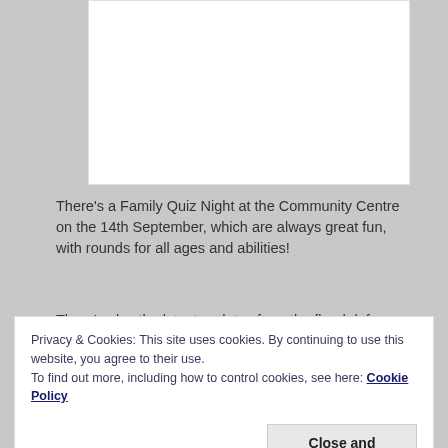[Figure (other): White rectangular image placeholder area]
There's a Family Quiz Night at the Community Centre on the 14th September, which are always great fun, with rounds for all ages and abilities!
There's also the latest updates from the flood defense works from Our City Our River (OCOR), including more
please do contact them anyway. We can't report things
Privacy & Cookies: This site uses cookies. By continuing to use this website, you agree to their use.
To find out more, including how to control cookies, see here: Cookie Policy
Close and accept